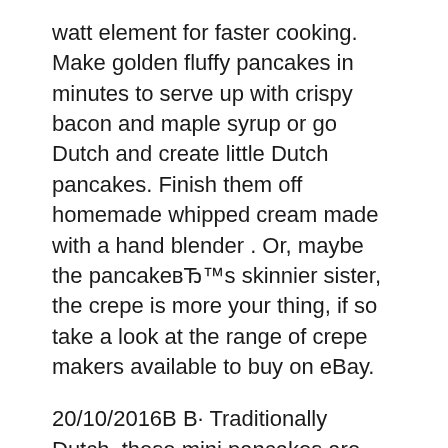watt element for faster cooking. Make golden fluffy pancakes in minutes to serve up with crispy bacon and maple syrup or go Dutch and create little Dutch pancakes. Finish them off homemade whipped cream made with a hand blender . Or, maybe the pancakeвЂ™s skinnier sister, the crepe is more your thing, if so take a look at the range of crepe makers available to buy on eBay.
20/10/2016В В· Traditionally Dutch, these mini pancakes are fun and tasty! They're prepared in a flash and you're guaranteed to be asked for seconds. Honestly, I didn't know there were so many uses for it. Bagels, pretzels